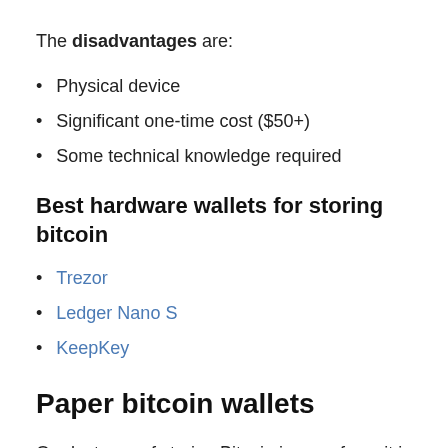The disadvantages are:
Physical device
Significant one-time cost ($50+)
Some technical knowledge required
Best hardware wallets for storing bitcoin
Trezor
Ledger Nano S
KeepKey
Paper bitcoin wallets
Our last way of storing Bitcoin is as safe as it is cost effective: the paper wallet. Paper wallets are computer